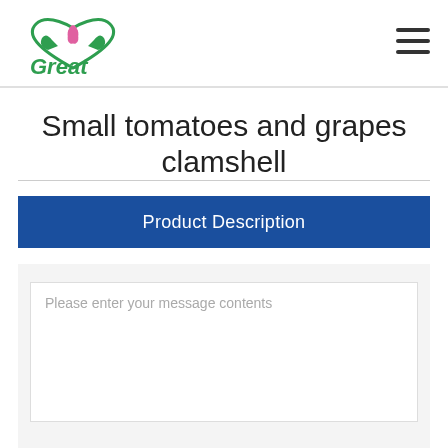Great [logo]
Small tomatoes and grapes clamshell
Product Description
Please enter your message contents